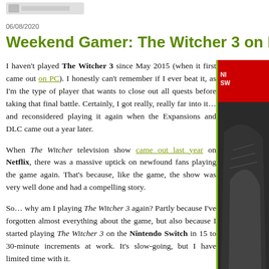06/08/2020
Weekend Gamer: The Witcher 3 on Nintendo
I haven't played The Witcher 3 since May 2015 (when it first came out on PC). I honestly can't remember if I ever beat it, as I'm the type of player that wants to close out all quests before taking that final battle. Certainly, I got really, really far into it… and reconsidered playing it again when the Expansions and DLC came out a year later.
When The Witcher television show came out last year on Netflix, there was a massive uptick on newfound fans playing the game again. That's because, like the game, the show was very well done and had a compelling story.
So… why am I playing The Witcher 3 again? Partly because I've forgotten almost everything about the game, but also because I started playing The Witcher 3 on the Nintendo Switch in 15 to 30-minute increments at work. It's slow-going, but I have limited time with it.
To get the massive game on the Switch, the developer had to make sacrifices, so, as a result, the game looks incredible ugly, compared to its PS4, Xbox, and PC versions. If you can get past the low resolution and junky details… it is nice to get the game on a mobile
[Figure (illustration): Sidebar image showing Nintendo Switch branding in red and a partial image of a figure, possibly from The Witcher game]